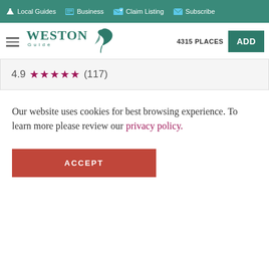Local Guides  Business  Claim Listing  Subscribe
[Figure (logo): Weston Guide logo with bird icon, navigation with hamburger menu, 4315 PLACES count and ADD button]
4.9 ★★★★★ (117)
Our website uses cookies for best browsing experience. To learn more please review our privacy policy.
ACCEPT